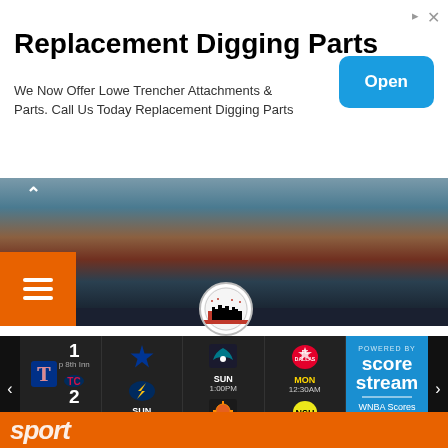[Figure (screenshot): Advertisement banner for Replacement Digging Parts with Open button]
Replacement Digging Parts
We Now Offer Lowe Trencher Attachments & Parts. Call Us Today Replacement Digging Parts
[Figure (photo): Sports stadium/arena hero image with hamburger menu button]
[Figure (logo): Round logo with city skyline silhouette]
[Figure (screenshot): ScoreStream sports scores widget showing MLB (Rangers 1, Twins 2, top 8th Inn), NFL (SUN 2:00AM), WNBA (SUN 1:00PM), MLS FC Dallas vs Nashville (MON 12:30AM), and Powered by ScoreStream panel with WNBA Scores]
[Figure (screenshot): Bottom orange sport banner partial]